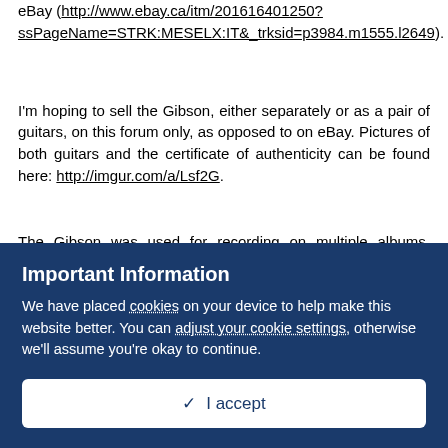eBay (http://www.ebay.ca/itm/201616401250?ssPageName=STRK:MESELX:IT&_trksid=p3984.m1555.l2649).
I'm hoping to sell the Gibson, either separately or as a pair of guitars, on this forum only, as opposed to on eBay. Pictures of both guitars and the certificate of authenticity can be found here: http://imgur.com/a/Lsf2G.
The Gibson was used for recording on multiple albums, including:
-Audio of Being
Important Information
We have placed cookies on your device to help make this website better. You can adjust your cookie settings, otherwise we'll assume you're okay to continue.
✓  I accept